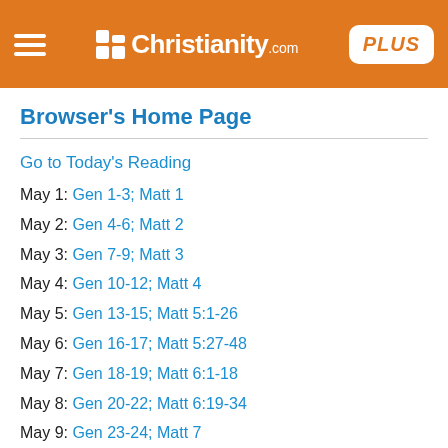Christianity.com PLUS
Browser's Home Page
Go to Today's Reading
May 1: Gen 1-3; Matt 1
May 2: Gen 4-6; Matt 2
May 3: Gen 7-9; Matt 3
May 4: Gen 10-12; Matt 4
May 5: Gen 13-15; Matt 5:1-26
May 6: Gen 16-17; Matt 5:27-48
May 7: Gen 18-19; Matt 6:1-18
May 8: Gen 20-22; Matt 6:19-34
May 9: Gen 23-24; Matt 7